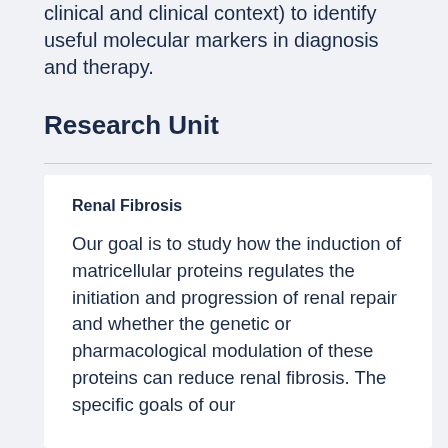clinical and clinical context) to identify useful molecular markers in diagnosis and therapy.
Research Unit
Renal Fibrosis
Our goal is to study how the induction of matricellular proteins regulates the initiation and progression of renal repair and whether the genetic or pharmacological modulation of these proteins can reduce renal fibrosis. The specific goals of our